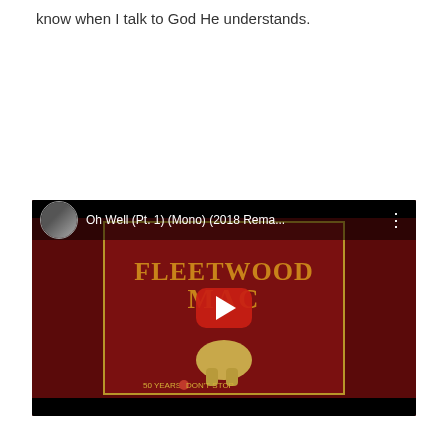know when I talk to God He understands.
[Figure (screenshot): YouTube video embed showing Fleetwood Mac 'Oh Well (Pt. 1) (Mono) (2018 Rema...' with album art for '50 Years - Don't Stop' on a dark red background. A YouTube play button is centered on the video thumbnail.]